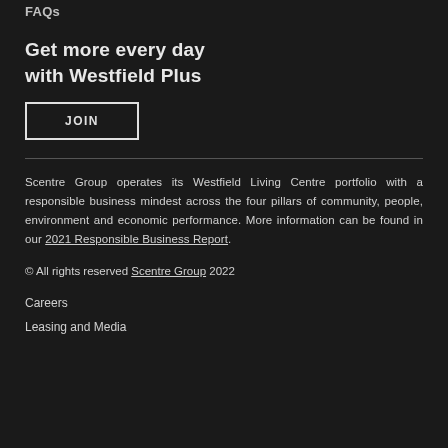FAQs
Get more every day with Westfield Plus
JOIN
Scentre Group operates its Westfield Living Centre portfolio with a responsible business mindest across the four pillars of community, people, environment and economic performance. More information can be found in our 2021 Responsible Business Report.
© All rights reserved Scentre Group 2022
Careers
Leasing and Media